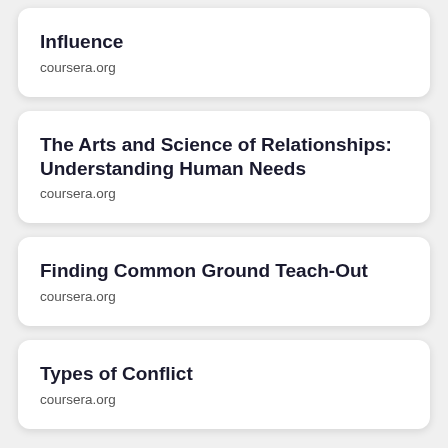Influence
coursera.org
The Arts and Science of Relationships: Understanding Human Needs
coursera.org
Finding Common Ground Teach-Out
coursera.org
Types of Conflict
coursera.org